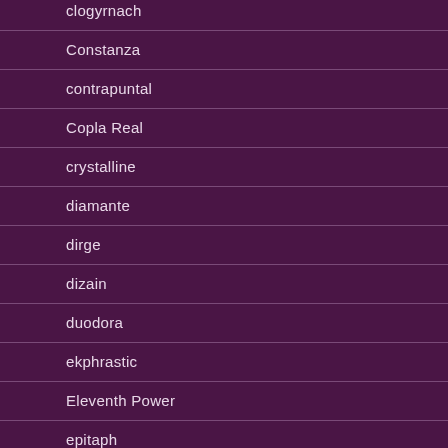clogyrnach
Constanza
contrapuntal
Copla Real
crystalline
diamante
dirge
dizain
duodora
ekphrastic
Eleventh Power
epitaph